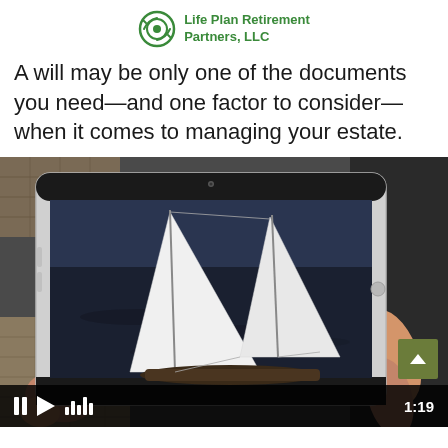Life Plan Retirement Partners, LLC
A will may be only one of the documents you need—and one factor to consider—when it comes to managing your estate.
[Figure (screenshot): A person holding a tablet device displaying a sailing yacht on dark water, with video player controls visible at the bottom showing a duration of 1:19 and a scroll-to-top button.]